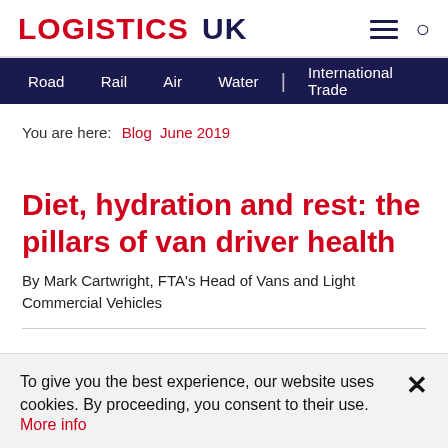LOGISTICS UK
Road  Rail  Air  Water  | International Trade
You are here:  Blog  June 2019
Diet, hydration and rest: the pillars of van driver health
By Mark Cartwright, FTA's Head of Vans and Light Commercial Vehicles
To give you the best experience, our website uses cookies. By proceeding, you consent to their use. More info